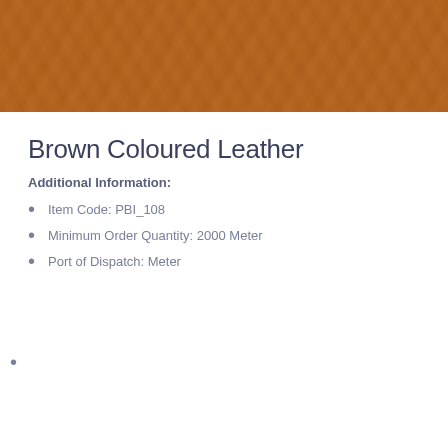[Figure (photo): Brown coloured leather texture swatch — warm tan/caramel brown with natural grain pattern]
Brown Coloured Leather
Additional Information:
Item Code: PBI_108
Minimum Order Quantity: 2000 Meter
Port of Dispatch: Meter
[Figure (photo): Dark green coloured leather texture swatch — deep forest green with natural grain pattern]